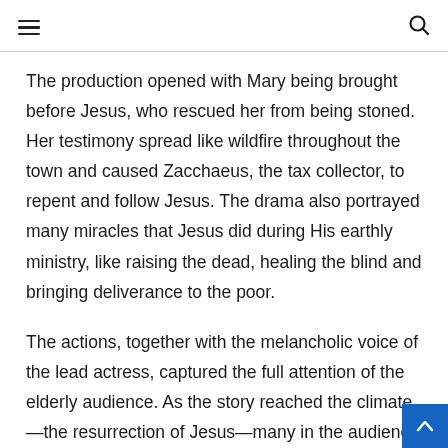≡  🔍
The production opened with Mary being brought before Jesus, who rescued her from being stoned. Her testimony spread like wildfire throughout the town and caused Zacchaeus, the tax collector, to repent and follow Jesus. The drama also portrayed many miracles that Jesus did during His earthly ministry, like raising the dead, healing the blind and bringing deliverance to the poor.
The actions, together with the melancholic voice of the lead actress, captured the full attention of the elderly audience. As the story reached the climate—the resurrection of Jesus—many in the audience stoo...